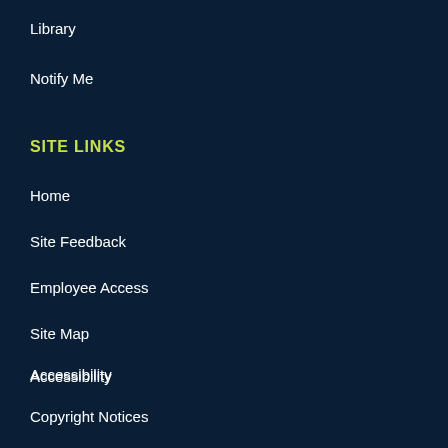Library
Notify Me
SITE LINKS
Home
Site Feedback
Employee Access
Site Map
Accessibility
Copyright Notices
Government Websites by CivicPlus®